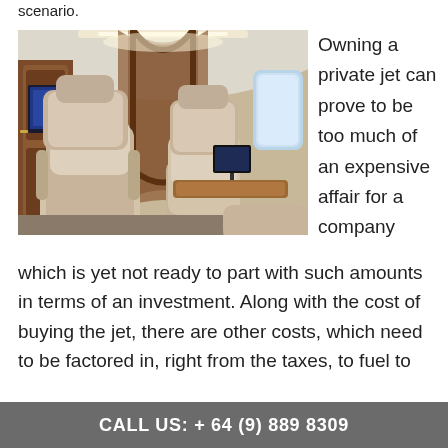scenario.
[Figure (photo): Interior of a private jet showing luxury leather seats, wooden paneling, overhead lighting, and a fold-out table with a monitor.]
Owning a private jet can prove to be too much of an expensive affair for a company which is yet not ready to part with such amounts in terms of an investment. Along with the cost of buying the jet, there are other costs, which need to be factored in, right from the taxes, to fuel to
CALL US: + 64 (9) 889  8309